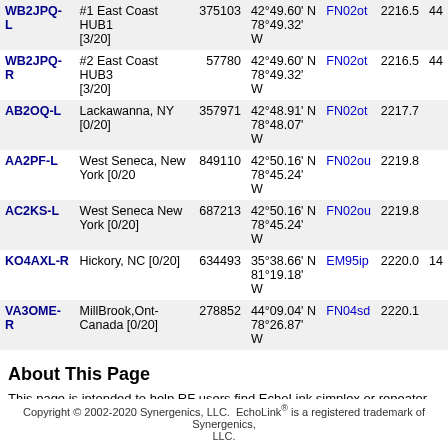| Callsign | Location | Node | Coordinates | Grid | Dist |  |
| --- | --- | --- | --- | --- | --- | --- |
| WB2JPQ-L | #1 East Coast HUB1 [3/20] | 375103 | 42°49.60' N 78°49.32' W | FN02ot | 2216.5 | 44 |
| WB2JPQ-R | #2 East Coast HUB3 [3/20] | 57780 | 42°49.60' N 78°49.32' W | FN02ot | 2216.5 | 44 |
| AB2OQ-L | Lackawanna, NY [0/20] | 357971 | 42°48.91' N 78°48.07' W | FN02ot | 2217.7 |  |
| AA2PF-L | West Seneca, New York [0/20 | 849110 | 42°50.16' N 78°45.24' W | FN02ou | 2219.8 |  |
| AC2KS-L | West Seneca New York [0/20] | 687213 | 42°50.16' N 78°45.24' W | FN02ou | 2219.8 |  |
| KO4AXL-R | Hickory, NC [0/20] | 634493 | 35°38.66' N 81°19.18' W | EM95ip | 2220.0 | 14 |
| VA3OME-R | MillBrook,Ont-Canada [0/20] | 278852 | 44°09.04' N 78°26.87' W | FN04sd | 2220.1 |  |
About This Page
This page is intended to help RF users find EchoLink simplex or repeater link
The table above shows information collected during the past several minutes. The only stations shown are those which have entered location information can be viewed here.
Simplex links (-L) show the location, frequency, and antenna information of the frequency, and antenna information of the repeater it serves. The values in th
Copyright © 2002-2020 Synergenics, LLC.  EchoLink® is a registered trademark of Synergenics, LLC.